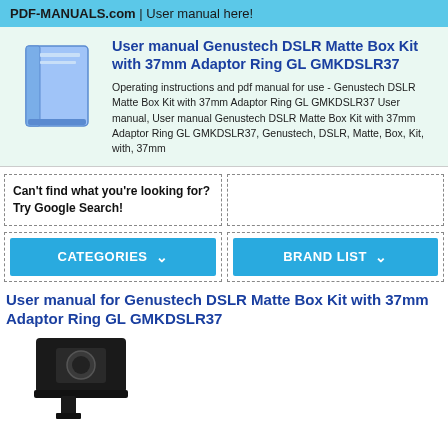PDF-MANUALS.com | User manual here!
User manual Genustech DSLR Matte Box Kit with 37mm Adaptor Ring GL GMKDSLR37
Operating instructions and pdf manual for use - Genustech DSLR Matte Box Kit with 37mm Adaptor Ring GL GMKDSLR37 User manual, User manual Genustech DSLR Matte Box Kit with 37mm Adaptor Ring GL GMKDSLR37, Genustech, DSLR, Matte, Box, Kit, with, 37mm
Can't find what you're looking for? Try Google Search!
[Figure (other): CATEGORIES dropdown button]
[Figure (other): BRAND LIST dropdown button]
User manual for Genustech DSLR Matte Box Kit with 37mm Adaptor Ring GL GMKDSLR37
[Figure (photo): Photo of Genustech DSLR Matte Box Kit product]